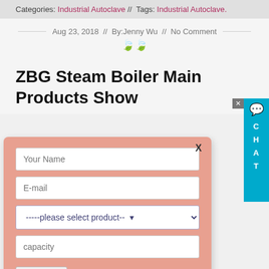Categories: Industrial Autoclave // Tags: Industrial Autoclave.
Aug 23, 2018 // By:Jenny Wu // No Comment
ZBG Steam Boiler Main Products Show
[Figure (screenshot): Website contact form overlay with fields for Your Name, E-mail, product select dropdown, capacity, and Submit button. Background shows partial image of ZBG branded boiler product.]